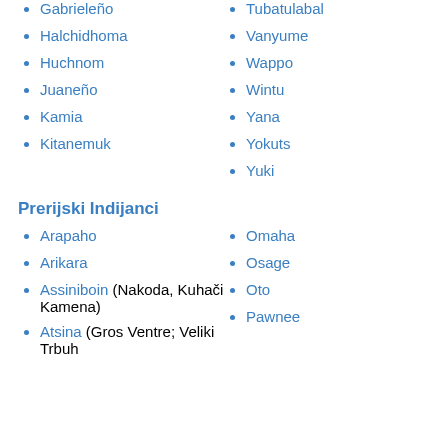Gabrieleño
Tubatulabal
Halchidhoma
Vanyume
Huchnom
Wappo
Juaneño
Wintu
Kamia
Yana
Kitanemuk
Yokuts
Yuki
Prerijski Indijanci
Arapaho
Omaha
Arikara
Osage
Assiniboin (Nakoda, Kuhači Kamena)
Oto
Pawnee
Atsina (Gros Ventre; Veliki Trbuh